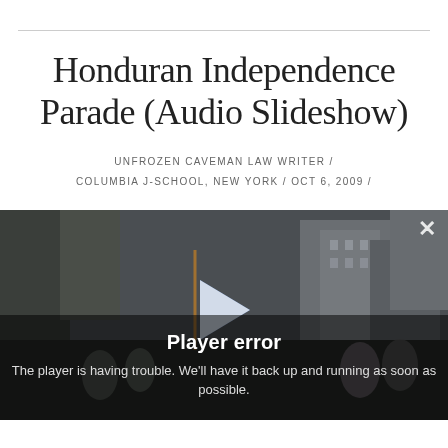Honduran Independence Parade (Audio Slideshow)
UNFROZEN CAVEMAN LAW WRITER / COLUMBIA J-SCHOOL, NEW YORK / OCT 6, 2009 /
[Figure (screenshot): A video/audio slideshow player showing a parade scene with people carrying Honduran flags on a city street. The player displays a 'Player error' overlay message reading: 'The player is having trouble. We'll have it back up and running as soon as possible.' A close (×) button is visible in the top right corner of the player.]